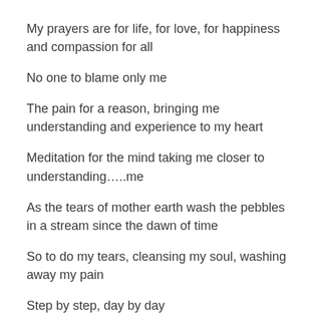My prayers are for life, for love, for happiness and compassion for all
No one to blame only me
The pain for a reason, bringing me understanding and experience to my heart
Meditation for the mind taking me closer to understanding…..me
As the tears of mother earth wash the pebbles in a stream since the dawn of time
So to do my tears, cleansing my soul, washing away my pain
Step by step, day by day